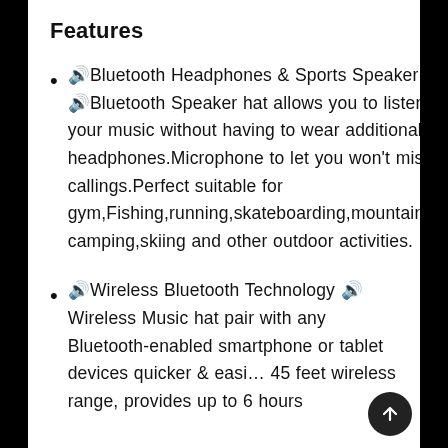Features
🔊Bluetooth Headphones & Sports Speaker 2 in 1🔊Bluetooth Speaker hat allows you to listen to your music without having to wear additional headphones.Microphone to let you won't miss any callings.Perfect suitable for gym,Fishing,running,skateboarding,mountaineering, camping,skiing and other outdoor activities.
🔊Wireless Bluetooth Technology 🔊Wireless Music hat pair with any Bluetooth-enabled smartphone or tablet devices quicker & easi… 45 feet wireless range, provides up to 6 hours of Playing Music or Talking with a 4Oh…